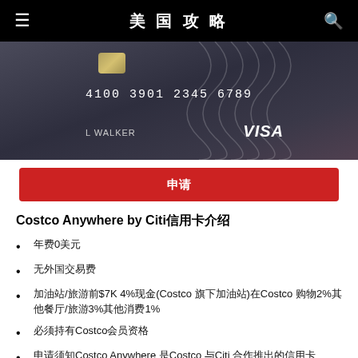美国攻略
[Figure (photo): Costco Anywhere Visa credit card showing card number 4100 3901 2345 6789 and cardholder name L WALKER with VISA logo]
申请
Costco Anywhere by Citi信用卡介绍
年费0美元
无外国交易费
加油站/旅游前$7K 4%现金(Costco 旗下加油站)在Costco 购物2%其他餐厅/旅游3%其他消费1%
必须持有Costco会员资格
申请须知Costco Anywhere 是Costco 与Citi 合作推出的信用卡